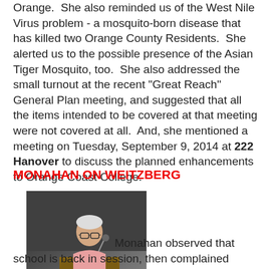Orange.  She also reminded us of the West Nile Virus problem - a mosquito-born disease that has killed two Orange County Residents.  She alerted us to the possible presence of the Asian Tiger Mosquito, too.  She also addressed the small turnout at the recent "Great Reach" General Plan meeting, and suggested that all the items intended to be covered at that meeting were not covered at all.  And, she mentioned a meeting on Tuesday, September 9, 2014 at 222 Hanover to discuss the planned enhancements to Orange Coast College.
MONAHAN ON WEITZBERG
[Figure (photo): An elderly man with glasses and white hair speaking at a podium with a 'NO SMOKING' sign, wearing a pink shirt, in a dark auditorium setting.]
Monahan observed that school is back in session, then complained about Venezia's article on Weitzberg, citing it as the most important thing and was